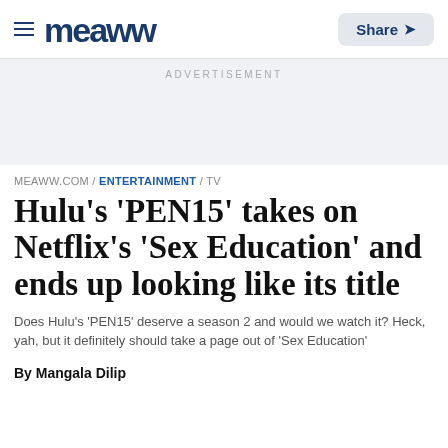meaww  Share
ADVERTISEMENT
MEAWW.COM / ENTERTAINMENT / TV
Hulu's 'PEN15' takes on Netflix's 'Sex Education' and ends up looking like its title
Does Hulu's 'PEN15' deserve a season 2 and would we watch it? Heck, yah, but it definitely should take a page out of 'Sex Education'
By Mangala Dilip